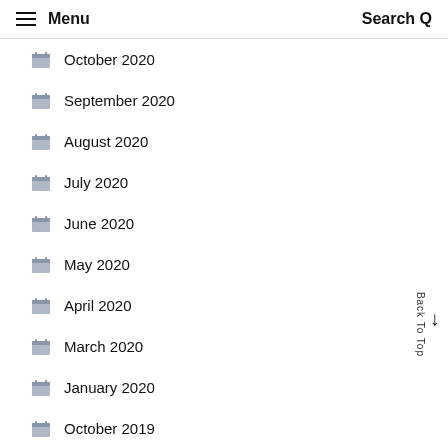≡ Menu   Search Q
October 2020
September 2020
August 2020
July 2020
June 2020
May 2020
April 2020
March 2020
January 2020
October 2019